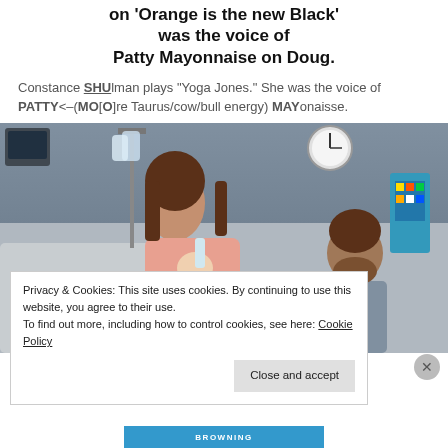on 'Orange is the new Black' was the voice of Patty Mayonnaise on Doug.
Constance SHUlman plays "Yoga Jones." She was the voice of PATTY<–(MO[O]re Taurus/cow/bull energy) MAYonaisse.
[Figure (photo): Woman in hospital bed holding and bottle-feeding a newborn baby, with a man (bearded) looking on from the right side. Medical equipment visible in the background including an IV stand and monitor.]
Privacy & Cookies: This site uses cookies. By continuing to use this website, you agree to their use.
To find out more, including how to control cookies, see here: Cookie Policy
Close and accept